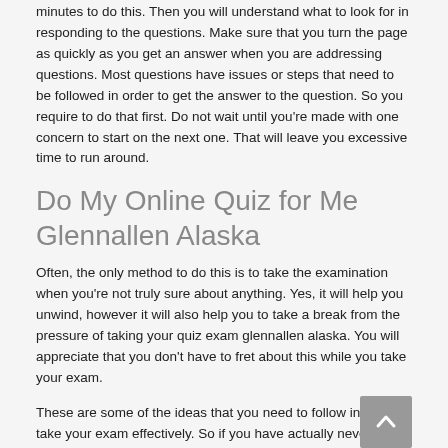minutes to do this. Then you will understand what to look for in responding to the questions. Make sure that you turn the page as quickly as you get an answer when you are addressing questions. Most questions have issues or steps that need to be followed in order to get the answer to the question. So you require to do that first. Do not wait until you're made with one concern to start on the next one. That will leave you excessive time to run around.
Do My Online Quiz for Me Glennallen Alaska
Often, the only method to do this is to take the examination when you're not truly sure about anything. Yes, it will help you unwind, however it will also help you to take a break from the pressure of taking your quiz exam glennallen alaska. You will appreciate that you don't have to fret about this while you take your exam.
These are some of the ideas that you need to follow in order to take your exam effectively. So if you have actually never taken a test before, and you haven't, now is the time that you start!
Online Quiz Glennallen Alaska USA